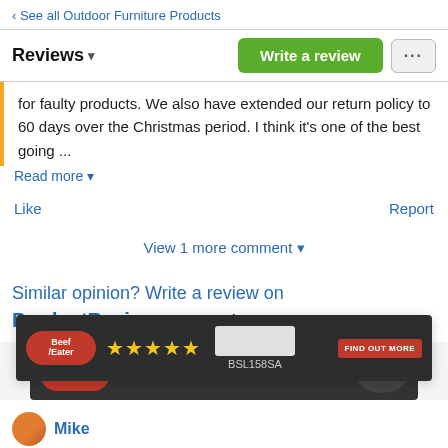‹ See all Outdoor Furniture Products
Reviews ▾
for faulty products. We also have extended our return policy to 60 days over the Christmas period. I think it's one of the best going ...
Read more ▾
Like
Report
View 1 more comment ▾
Similar opinion? Write a review on ProductReview.com.au!
[Figure (screenshot): Advertisement banner for Beefsteaker (Beef/Eater) BBQ product BSL158SA with 5-star rating and 'Find Out More' button on dark background]
Mike